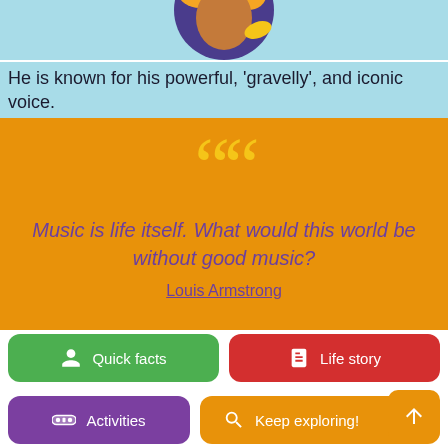[Figure (illustration): Partial illustration of an animated character (musician figure with purple hat and orange/yellow headphones or trumpet) on a light blue background, cropped at top]
He is known for his powerful, 'gravelly', and iconic voice.
[Figure (infographic): Orange background section with large yellow open-quote marks and an italic quote in purple text: 'Music is life itself. What would this world be without good music?' attributed to Louis Armstrong]
Music is life itself. What would this world be without good music?
Louis Armstrong
Quick facts
Life story
Activities
Keep exploring!